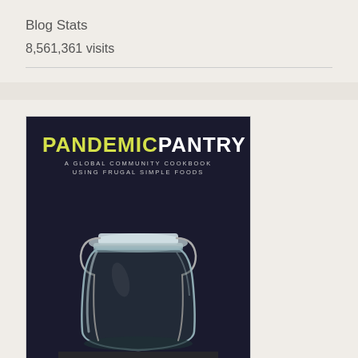Blog Stats
8,561,361 visits
[Figure (photo): Book cover of 'Pandemic Pantry: A Global Community Cookbook Using Frugal Simple Foods' showing an empty glass mason jar with a clamp lid against a dark background]